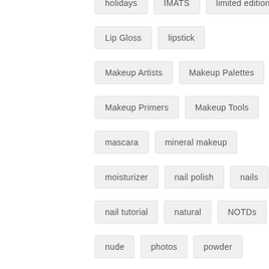holidays
IMATS
limited edition
Lip Gloss
lipstick
Makeup Artists
Makeup Palettes
Makeup Primers
Makeup Tools
mascara
mineral makeup
moisturizer
nail polish
nails
nail tutorial
natural
NOTDs
nude
photos
powder
Product Of The Week
red
review
toner
vampy